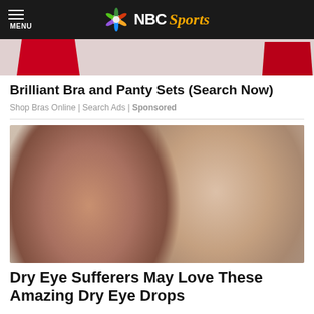MENU | NBC Sports
[Figure (photo): Cropped image of red lingerie items]
Brilliant Bra and Panty Sets (Search Now)
Shop Bras Online | Search Ads | Sponsored
[Figure (photo): A woman receiving eye drops from a medical professional in a white coat]
Dry Eye Sufferers May Love These Amazing Dry Eye Drops